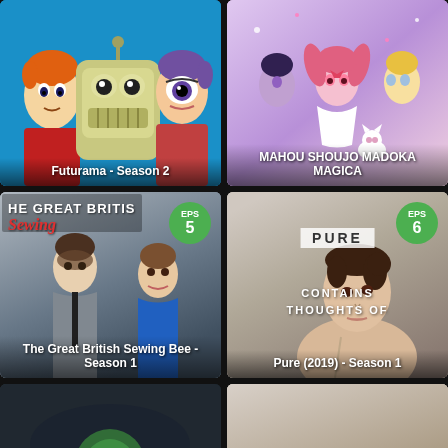[Figure (screenshot): TV show card: Futurama Season 2 with animated characters Fry, Bender, and Leela on blue background]
Futurama - Season 2
[Figure (screenshot): TV show card: Mahou Shoujo Madoka Magica anime poster with magical girl characters on pink/purple background]
MAHOU SHOUJO MADOKA MAGICA
[Figure (screenshot): TV show card: The Great British Sewing Bee Season 1, EPS 5 badge, photo of two people]
The Great British Sewing Bee - Season 1
[Figure (screenshot): TV show card: Pure (2019) Season 1, EPS 6 badge, photo of woman, text CONTAINS THOUGHTS OF]
Pure (2019) - Season 1
[Figure (screenshot): Partial bottom-left TV show card, dark background]
[Figure (screenshot): Partial bottom-right TV show card, light background]